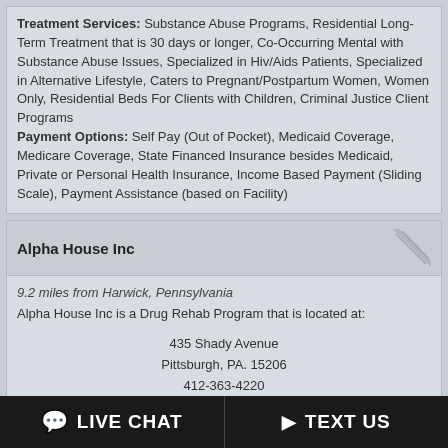Treatment Services: Substance Abuse Programs, Residential Long-Term Treatment that is 30 days or longer, Co-Occurring Mental with Substance Abuse Issues, Specialized in Hiv/Aids Patients, Specialized in Alternative Lifestyle, Caters to Pregnant/Postpartum Women, Women Only, Residential Beds For Clients with Children, Criminal Justice Client Programs
Payment Options: Self Pay (Out of Pocket), Medicaid Coverage, Medicare Coverage, State Financed Insurance besides Medicaid, Private or Personal Health Insurance, Income Based Payment (Sliding Scale), Payment Assistance (based on Facility)
Alpha House Inc
9.2 miles from Harwick, Pennsylvania
Alpha House Inc is a Drug Rehab Program that is located at:

435 Shady Avenue
Pittsburgh, PA. 15206
412-363-4220
Treatment Services: Substance Abuse Programs, Outpatient Treatment, Residential Long-Term Treatment that is 30 days or longer, Co-Occurring Mental with Substance Abuse Issues, Specialized in Hiv/Aids Patients, Specialized in Alternative Lifestyle, Women Only, Men Only, Criminal Justice Client Programs, Other Language...
LIVE CHAT   TEXT US